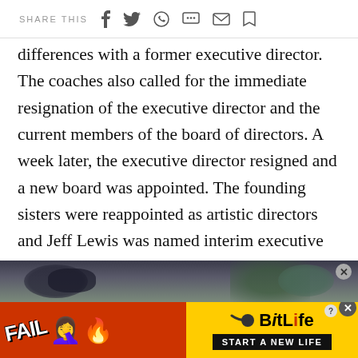SHARE THIS
differences with a former executive director. The coaches also called for the immediate resignation of the executive director and the current members of the board of directors. A week later, the executive director resigned and a new board was appointed. The founding sisters were reappointed as artistic directors and Jeff Lewis was named interim executive director.
[Figure (screenshot): Advertisement banner at bottom of page. Top portion shows a dark scene screenshot. Bottom portion is a BitLife game advertisement with orange/red background, 'FAIL' text, emoji characters, flame, and 'BitLife START A NEW LIFE' branding on yellow background.]